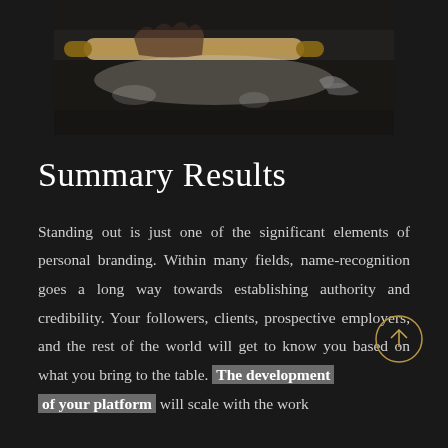[Figure (photo): Dark overhead photo of hands using a rolling pin on dough, with flour and kitchen tools on a dark surface]
Summary Results
Standing out is just one of the significant elements of personal branding. Within many fields, name-recognition goes a long way towards establishing authority and credibility. Your followers, clients, prospective employers, and the rest of the world will get to know you based on what you bring to the table. The development of your platform will scale with the work